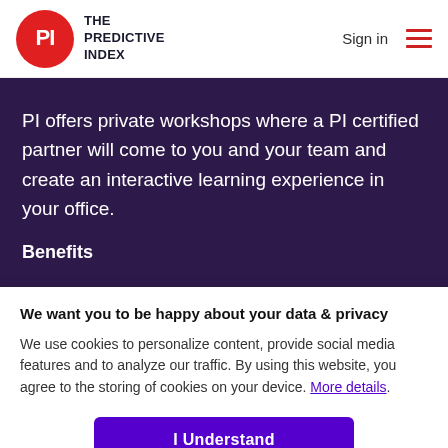The Predictive Index — Sign in
PI offers private workshops where a PI certified partner will come to you and your team and create an interactive learning experience in your office.
Benefits
We want you to be happy about your data & privacy
We use cookies to personalize content, provide social media features and to analyze our traffic. By using this website, you agree to the storing of cookies on your device. More details.
I Understand